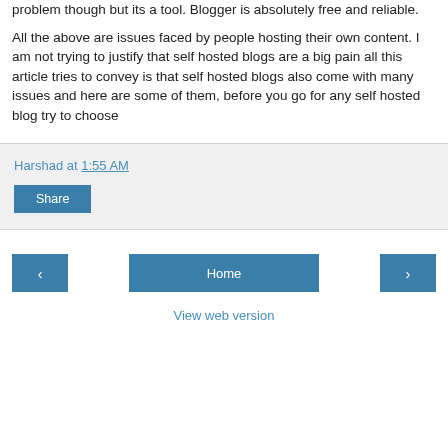problem though but its a tool. Blogger is absolutely free and reliable.
All the above are issues faced by people hosting their own content. I am not trying to justify that self hosted blogs are a big pain all this article tries to convey is that self hosted blogs also come with many issues and here are some of them, before you go for any self hosted blog try to choose
Harshad at 1:55 AM
Share
‹
Home
›
View web version